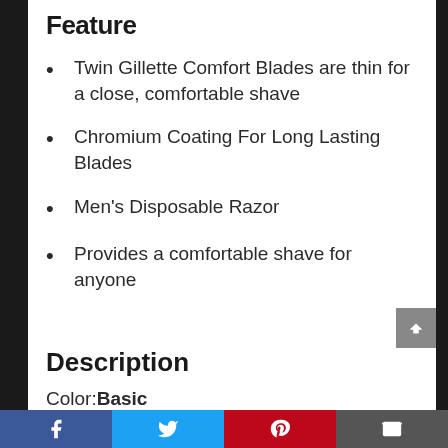Feature
Twin Gillette Comfort Blades are thin for a close, comfortable shave
Chromium Coating For Long Lasting Blades
Men's Disposable Razor
Provides a comfortable shave for anyone
Description
Color: Basic